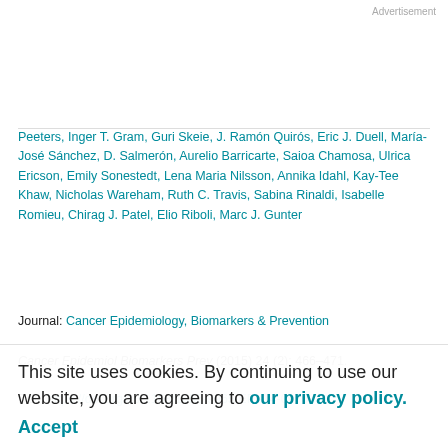Advertisement
Peeters, Inger T. Gram, Guri Skeie, J. Ramón Quirós, Eric J. Duell, María-José Sánchez, D. Salmerón, Aurelio Barricarte, Saioa Chamosa, Ulrica Ericson, Emily Sonestedt, Lena Maria Nilsson, Annika Idahl, Kay-Tee Khaw, Nicholas Wareham, Ruth C. Travis, Sabina Rinaldi, Isabelle Romieu, Chirag J. Patel, Elio Riboli, Marc J. Gunter
Journal: Cancer Epidemiology, Biomarkers & Prevention
Cancer Epidemiol Biomarkers Prev (2015) 24 (2): 466–471.
DOI: https://doi.org/10.1158/1055-9965.EPI-14-0970
Published: 05 February 2015
This site uses cookies. By continuing to use our website, you are agreeing to our privacy policy. Accept